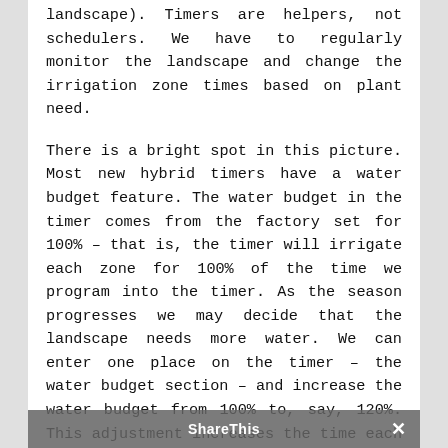landscape). Timers are helpers, not schedulers. We have to regularly monitor the landscape and change the irrigation zone times based on plant need.
There is a bright spot in this picture. Most new hybrid timers have a water budget feature. The water budget in the timer comes from the factory set for 100% – that is, the timer will irrigate each zone for 100% of the time we program into the timer. As the season progresses we may decide that the landscape needs more water. We can enter one place on the timer – the water budget section – and increase the water budget from 100% to, say, 120%. This adjustment increases the time each zone operates by 20%, regardless of how many zones are on the timer or when they are scheduled to operate. This is an extremely handy feature that
ShareThis ✕